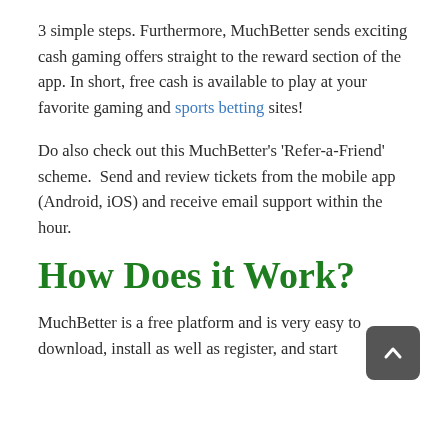3 simple steps. Furthermore, MuchBetter sends exciting cash gaming offers straight to the reward section of the app. In short, free cash is available to play at your favorite gaming and sports betting sites!
Do also check out this MuchBetter's 'Refer-a-Friend' scheme.  Send and review tickets from the mobile app (Android, iOS) and receive email support within the hour.
How Does it Work?
MuchBetter is a free platform and is very easy to download, install as well as register, and start